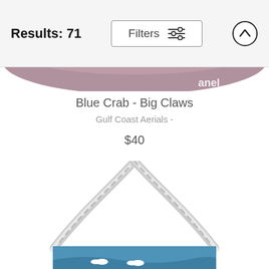Results: 71
Blue Crab - Big Claws
Gulf Coast Aerials -
$40
[Figure (photo): Partial view of a round product (bag or plate) with a mauve/grey surface and partial white text at right edge.]
[Figure (photo): A white rope-handled bag photographed from above showing rope handles converging at top, with a blue coastal/beach scene photo printed on the bag at the bottom.]